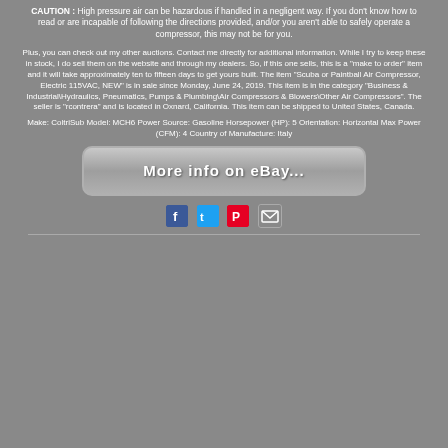CAUTION : High pressure air can be hazardous if handled in a negligent way. If you don't know how to read or are incapable of following the directions provided, and/or you aren't able to safely operate a compressor, this may not be for you.
Plus, you can check out my other auctions. Contact me directly for additional information. While I try to keep these in stock, I do sell them on the website and through my dealers. So, if this one sells, this is a "make to order" item and it will take approximately ten to fifteen days to get yours built. The item "Scuba or Paintball Air Compressor, Electric 115VAC, NEW" is in sale since Monday, June 24, 2019. This item is in the category "Business & Industrial\Hydraulics, Pneumatics, Pumps & Plumbing\Air Compressors & Blowers\Other Air Compressors". The seller is "rcontrera" and is located in Oxnard, California. This item can be shipped to United States, Canada.
Make: ColtriSub Model: MCH6 Power Source: Gasoline Horsepower (HP): 5 Orientation: Horizontal Max Power (CFM): 4 Country of Manufacture: Italy
[Figure (other): eBay button with text 'More info on eBay...' in handwritten style on a rounded grey button]
[Figure (other): Social sharing icons: Facebook (blue), Twitter (light blue), Pinterest (red), Email (grey)]